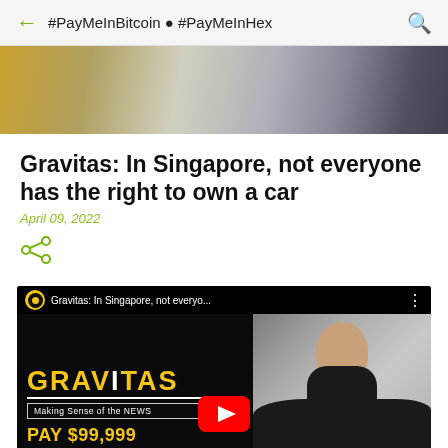#PayMeInBitcoin ● #PayMeInHex
[Figure (photo): Blurred photo background showing a car interior scene with golden/grey tones]
Gravitas: In Singapore, not everyone has the right to own a car
April 09, 2022
[Figure (screenshot): YouTube video thumbnail showing GRAVITAS logo with text 'Making Sense of the NEWS' and 'PAY $99,999' overlaid, with a woman smiling in a car on the right side. Video title: 'Gravitas: In Singapore, not everyo...']